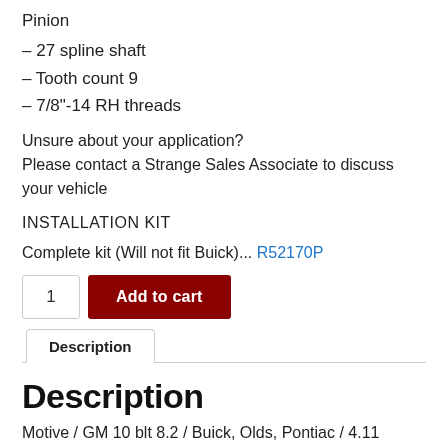Pinion
– 27 spline shaft
– Tooth count 9
– 7/8"-14 RH threads
Unsure about your application?
Please contact a Strange Sales Associate to discuss your vehicle
INSTALLATION KIT
Complete kit (Will not fit Buick)... R52170P
1  Add to cart
Description
Description
Motive / GM 10 blt 8.2 / Buick, Olds, Pontiac / 4.11